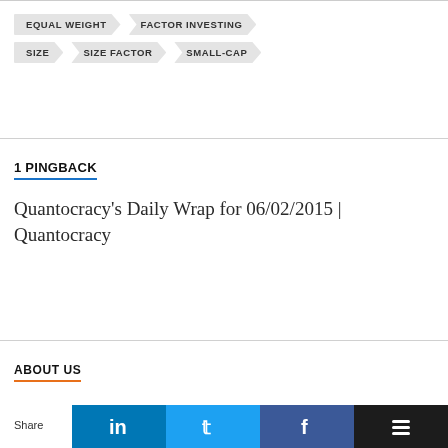EQUAL WEIGHT
FACTOR INVESTING
SIZE
SIZE FACTOR
SMALL-CAP
1 PINGBACK
Quantocracy's Daily Wrap for 06/02/2015 | Quantocracy
ABOUT US
Share